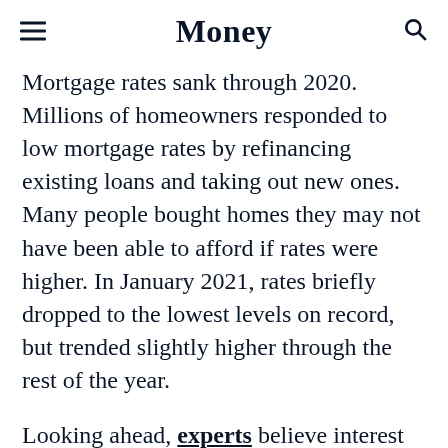Money
Mortgage rates sank through 2020. Millions of homeowners responded to low mortgage rates by refinancing existing loans and taking out new ones. Many people bought homes they may not have been able to afford if rates were higher. In January 2021, rates briefly dropped to the lowest levels on record, but trended slightly higher through the rest of the year.
Looking ahead, experts believe interest rates will rise more in 2022, but also modestly. Factors that could influence rates